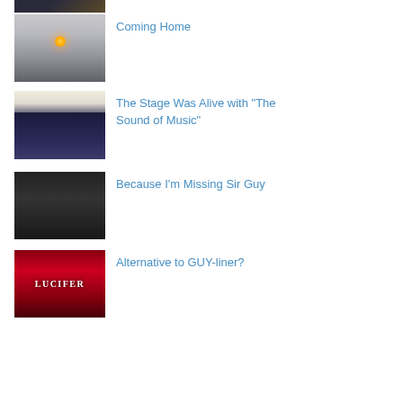[Figure (photo): Partial thumbnail of a group of people, cropped at top]
[Figure (photo): Misty/foggy landscape with a glowing orb (sun or moon) in the center]
Coming Home
[Figure (photo): Screenshot of a webpage or social media post showing a group photo of people on a stage]
The Stage Was Alive with "The Sound of Music"
[Figure (photo): Dark portrait of a person with long dark hair]
Because I'm Missing Sir Guy
[Figure (photo): Lucifer show poster/image with red background and text LUCIFER]
Alternative to GUY-liner?